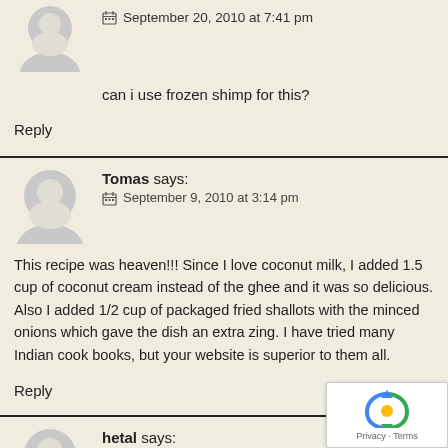September 20, 2010 at 7:41 pm
can i use frozen shimp for this?
Reply
Tomas says:
September 9, 2010 at 3:14 pm
This recipe was heaven!!! Since I love coconut milk, I added 1.5 cup of coconut cream instead of the ghee and it was so delicious. Also I added 1/2 cup of packaged fried shallots with the minced onions which gave the dish an extra zing. I have tried many Indian cook books, but your website is superior to them all.
Reply
hetal says:
September 10, 2010 at 1:27 am